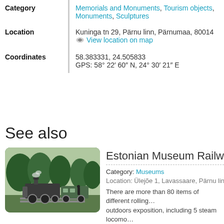| Field | Value |
| --- | --- |
| Category | Memorials and Monuments, Tourism objects, Monuments, Sculptures |
| Location | Kuninga tn 29, Pärnu linn, Pärnumaa, 80014
View location on map |
| Coordinates | 58.383331, 24.505833
GPS: 58° 22′ 60″ N, 24° 30′ 21″ E |
See also
[Figure (photo): Photo of a steam locomotive at Estonian Museum Railway at Lavassaare, surrounded by trees]
Estonian Museum Railway at La...
Category: Museums
Location: Ülejõe 1, Lavassaare, Pärnu linn, Pär...
There are more than 80 items of different rolling... outdoors exposition, including 5 steam locomo...